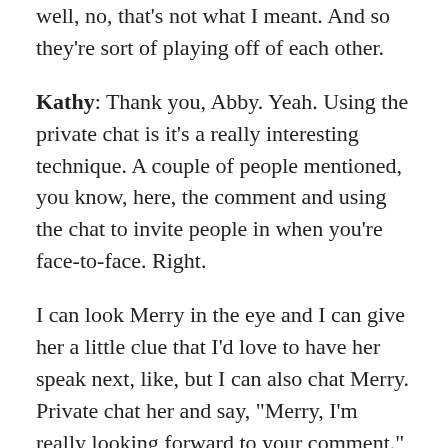well, no, that's not what I meant. And so they're sort of playing off of each other.
Kathy: Thank you, Abby. Yeah. Using the private chat is it's a really interesting technique. A couple of people mentioned, you know, here, the comment and using the chat to invite people in when you're face-to-face. Right.
I can look Merry in the eye and I can give her a little clue that I'd love to have her speak next, like, but I can also chat Merry. Private chat her and say, "Merry, I'm really looking forward to your comment."
Of course, the challenge is you don't want to have so many crosscurrents of conversations off screen that people's attention is diverted. That's why, if you notice in the norms, we often we ask people to